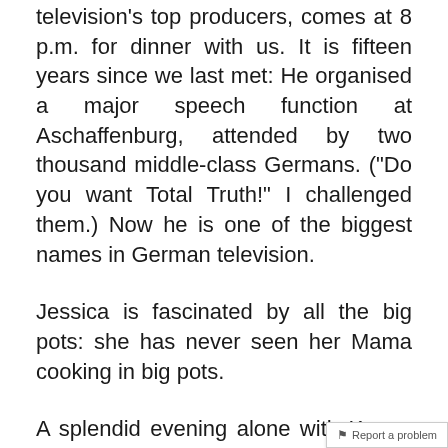television's top producers, comes at 8 p.m. for dinner with us. It is fifteen years since we last met: He organised a major speech function at Aschaffenburg, attended by two thousand middle-class Germans. ("Do you want Total Truth!" I challenged them.) Now he is one of the biggest names in German television.
Jessica is fascinated by all the big pots: she has never seen her Mama cooking in big pots.
A splendid evening alone with Knopp over an extended dinner. He proves ill-informed about his government's punitive campaign against free thinkers; when I tell him that the world is in uproar about twenty-nine dissidents held in China's jails, but there are that many new in